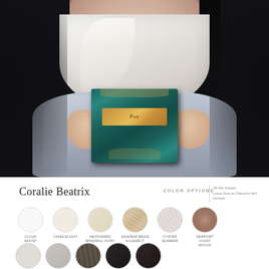[Figure (photo): Woman wearing a white draped top and light blue/grey skirt, holding an antique teal Edgar Allan Poe book, photographed against a dark background]
Coralie Beatrix
COLOR OPTIONS
.99 Per Swatch
Leave Note at Checkout with choice/s
[Figure (infographic): Color swatch options row 1: Cloud White, Candlelight, Weathered Spindmill Ivory, Sandbar Beige Solemect, Oyster Shimmer, Newport Coast Mocha]
[Figure (infographic): Color swatch options row 2: 5 darker swatches in grey, charcoal, and near-black tones]